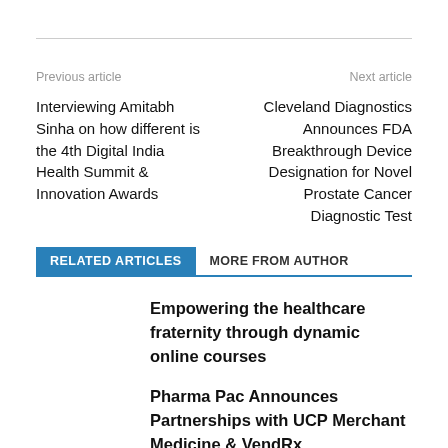Previous article
Next article
Interviewing Amitabh Sinha on how different is the 4th Digital India Health Summit & Innovation Awards
Cleveland Diagnostics Announces FDA Breakthrough Device Designation for Novel Prostate Cancer Diagnostic Test
RELATED ARTICLES
MORE FROM AUTHOR
Empowering the healthcare fraternity through dynamic online courses
Pharma Pac Announces Partnerships with UCP Merchant Medicine & VendRx